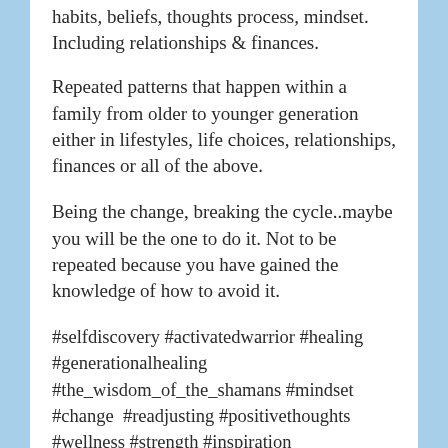habits, beliefs, thoughts process, mindset. Including relationships & finances.
Repeated patterns that happen within a family from older to younger generation either in lifestyles, life choices, relationships, finances or all of the above.
Being the change, breaking the cycle..maybe you will be the one to do it. Not to be repeated because you have gained the knowledge of how to avoid it.
#selfdiscovery #activatedwarrior #healing #generationalhealing #the_wisdom_of_the_shamans #mindset #change  #readjusting #positivethoughts #wellness #strength #inspiration